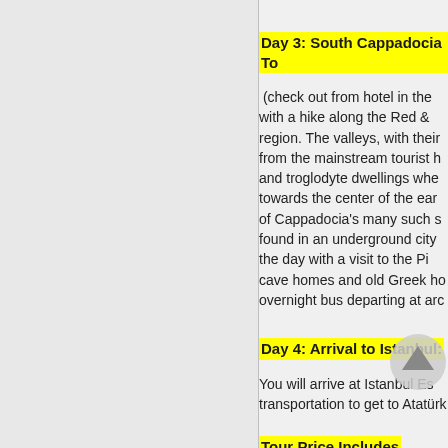Day 3: South Cappadocia To
(check out from hotel in the with a hike along the Red & region. The valleys, with their from the mainstream tourist h and troglodyte dwellings whe towards the center of the ear of Cappadocia's many such s found in an underground city the day with a visit to the Pi cave homes and old Greek ho overnight bus departing at arc
Day 4: Arrival to Istanbul:
You will arrive at Istanbul Es transportation to get to Atatürk
Tour Price Includes
A night 25 accommodation